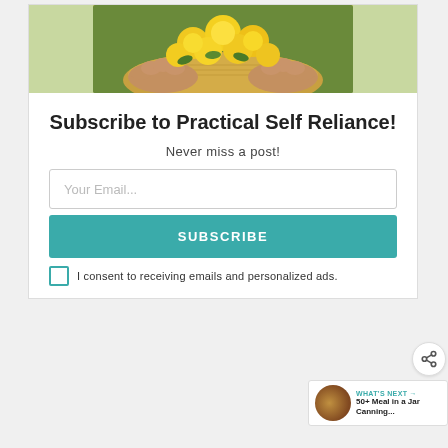[Figure (photo): Hands holding a wicker basket filled with yellow dandelion flowers against a green background, only the bottom portion of the image is visible.]
Subscribe to Practical Self Reliance!
Never miss a post!
Your Email...
SUBSCRIBE
I consent to receiving emails and personalized ads.